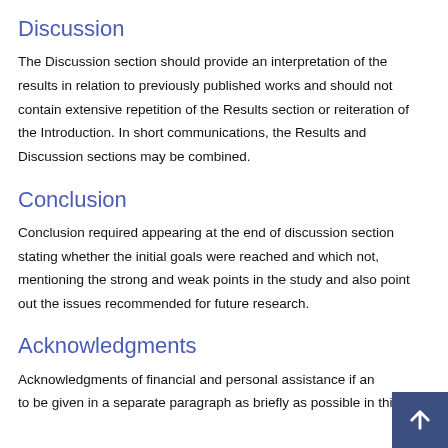Discussion
The Discussion section should provide an interpretation of the results in relation to previously published works and should not contain extensive repetition of the Results section or reiteration of the Introduction. In short communications, the Results and Discussion sections may be combined.
Conclusion
Conclusion required appearing at the end of discussion section stating whether the initial goals were reached and which not, mentioning the strong and weak points in the study and also point out the issues recommended for future research.
Acknowledgments
Acknowledgments of financial and personal assistance if any to be given in a separate paragraph as briefly as possible in this